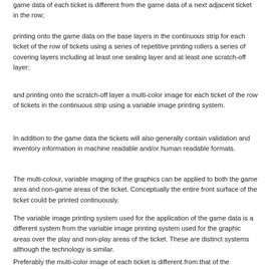game data of each ticket is different from the game data of a next adjacent ticket in the row;
printing onto the game data on the base layers in the continuous strip for each ticket of the row of tickets using a series of repetitive printing rollers a series of covering layers including at least one sealing layer and at least one scratch-off layer;
and printing onto the scratch-off layer a multi-color image for each ticket of the row of tickets in the continuous strip using a variable image printing system.
In addition to the game data the tickets will also generally contain validation and inventory information in machine readable and/or human readable formats.
The multi-colour, variable imaging of the graphics can be applied to both the game area and non-game areas of the ticket. Conceptually the entire front surface of the ticket could be printed continuously.
The variable image printing system used for the application of the game data is a different system from the variable image printing system used for the graphic areas over the play and non-play areas of the ticket. These are distinct systems although the technology is similar.
Preferably the multi-color image of each ticket is different from that of the